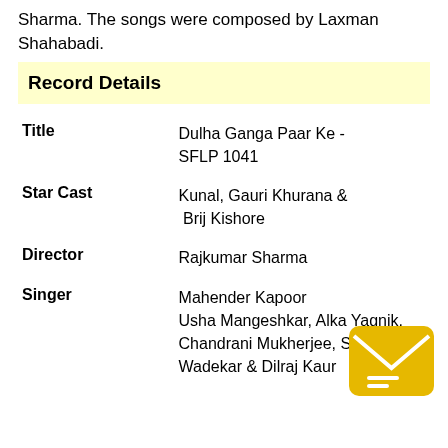Sharma. The songs were composed by Laxman Shahabadi.
Record Details
| Field | Value |
| --- | --- |
| Title | Dulha Ganga Paar Ke - SFLP 1041 |
| Star Cast | Kunal, Gauri Khurana & Brij Kishore |
| Director | Rajkumar Sharma |
| Singer | Mahender Kapoor Usha Mangeshkar, Alka Yagnik, Chandrani Mukherjee, Suresh Wadekar & Dilraj Kaur |